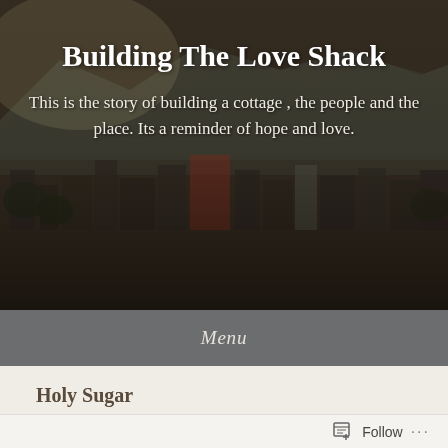[Figure (photo): Aerial cityscape photo with mountains in background, dark warm tones, used as website header background]
Building The Love Shack
This is the story of building a cottage , the people and the place. Its a reminder of hope and love.
Menu
Holy Sugar
Posted on August 28, 2018 by buildingtheloveshack
Follow ...